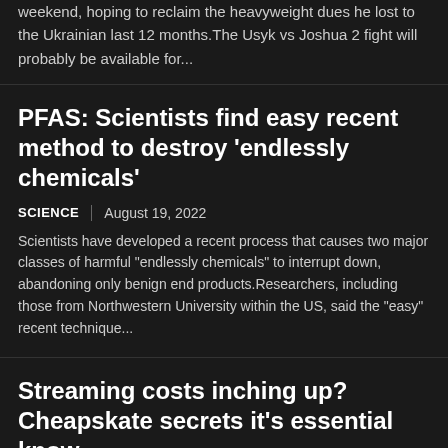weekend, hoping to reclaim the heavyweight dues he lost to the Ukrainian last 12 months.The Usyk vs Joshua 2 fight will probably be available for...
PFAS: Scientists find easy recent method to destroy ‘endlessly chemicals’
SCIENCE | August 19, 2022
Scientists have developed a recent process that causes two major classes of harmful “endlessly chemicals” to interrupt down, abandoning only benign end products.Researchers, including those from Northwestern University within the US, said the “easy” recent technique…
Streaming costs inching up? Cheapskate secrets it’s essential know
SCIENCE | August 18, 2022